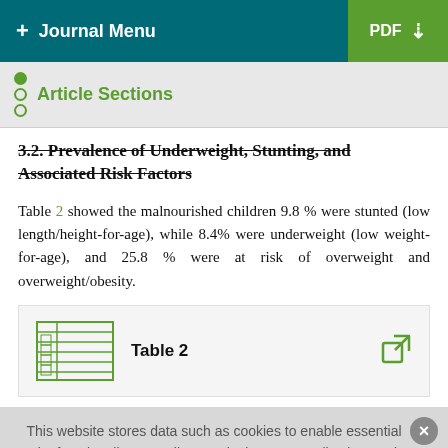+ Journal Menu | PDF
Article Sections
3.2. Prevalence of Underweight, Stunting, and Associated Risk Factors
Table 2 showed the malnourished children 9.8 % were stunted (low length/height-for-age), while 8.4% were underweight (low weight-for-age), and 25.8 % were at risk of overweight and overweight/obesity.
Table 2
This website stores data such as cookies to enable essential site functionality, as well as marketing, personalization, and analytics. By remaining on this website you indicate your consent. Cookie Policy